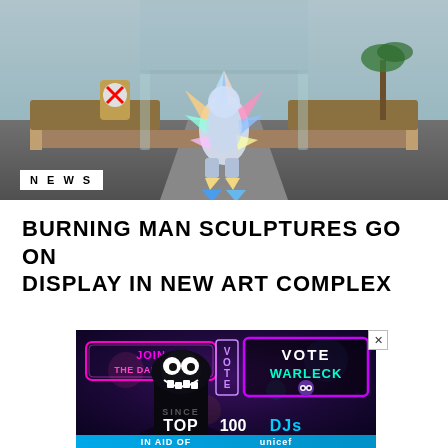[Figure (photo): Outdoor art installation with iridescent spiky sculptural figure in a courtyard setting with palm trees visible]
NEWS
BURNING MAN SCULPTURES GO ON DISPLAY IN NEW ART COMPLEX
[Figure (photo): Advertisement banner for Top 100 DJs in aid of UNICEF. Features a dark hooded cartoon figure with cartoon eyes and teeth, neon signs reading JOIN THE DARKSIDE and VOTE WARLECK, with TOP 100 DJs text and IN AID OF UNICEF at the bottom]